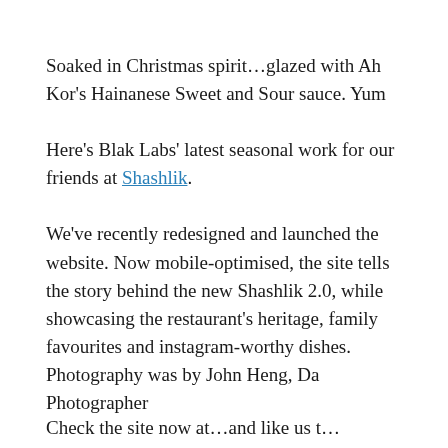Soaked in Christmas spirit…glazed with Ah Kor's Hainanese Sweet and Sour sauce. Yum
Here's Blak Labs' latest seasonal work for our friends at Shashlik.
We've recently redesigned and launched the website. Now mobile-optimised, the site tells the story behind the new Shashlik 2.0, while showcasing the restaurant's heritage, family favourites and instagram-worthy dishes. Photography was by John Heng, Da Photographer
Check the site now at…and like us t…